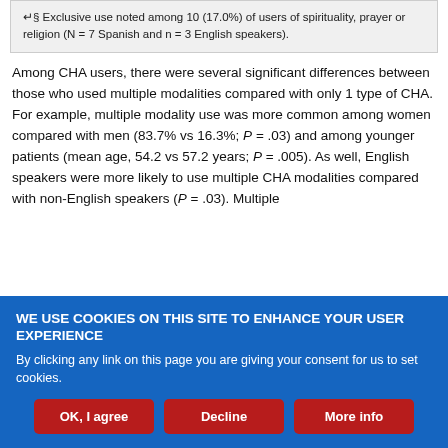↵§ Exclusive use noted among 10 (17.0%) of users of spirituality, prayer or religion (N = 7 Spanish and n = 3 English speakers).
Among CHA users, there were several significant differences between those who used multiple modalities compared with only 1 type of CHA. For example, multiple modality use was more common among women compared with men (83.7% vs 16.3%; P = .03) and among younger patients (mean age, 54.2 vs 57.2 years; P = .005). As well, English speakers were more likely to use multiple CHA modalities compared with non-English speakers (P = .03). Multiple
[Figure (other): Cookie consent banner with blue background. Title: 'WE USE COOKIES ON THIS SITE TO ENHANCE YOUR USER EXPERIENCE'. Body text: 'By clicking any link on this page you are giving your consent for us to set cookies.' Three buttons: 'OK, I agree', 'Decline', 'More info' in dark red.]